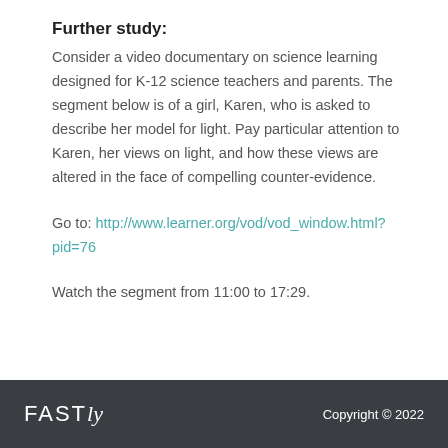Further study:
Consider a video documentary on science learning designed for K-12 science teachers and parents. The segment below is of a girl, Karen, who is asked to describe her model for light. Pay particular attention to Karen, her views on light, and how these views are altered in the face of compelling counter-evidence.
Go to: http://www.learner.org/vod/vod_window.html?pid=76
Watch the segment from 11:00 to 17:29.
FASTly   Copyright © 2022